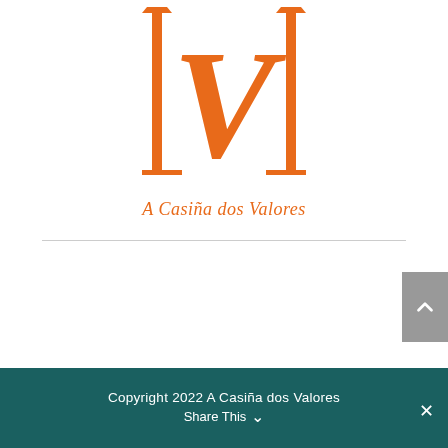[Figure (logo): A Casiña dos Valores logo — orange decorative letter V with columns and 'A Casiña dos Valores' text in orange script below]
Copyright 2022 A Casiña dos Valores